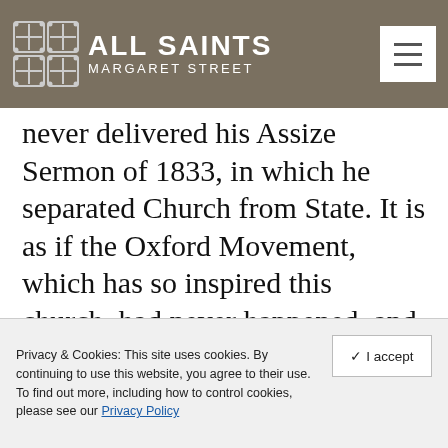ALL SAINTS MARGARET STREET
…ever delivered his Assize Sermon of 1833, in which he separated Church from State. It is as if the Oxford Movement, which has so inspired this church, had never happened, and so, as the shades of past worshippers rise up around us, I have to ask John Keble's question again. Is the Church of England a representative in England of the whole Church, Catholic and Apostolic, or is she just a dressing up box for ambitious public servants?
Privacy & Cookies: This site uses cookies. By continuing to use this website, you agree to their use. To find out more, including how to control cookies, please see our Privacy Policy